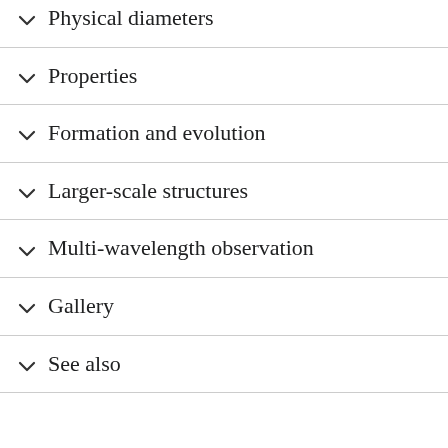Physical diameters
Properties
Formation and evolution
Larger-scale structures
Multi-wavelength observation
Gallery
See also